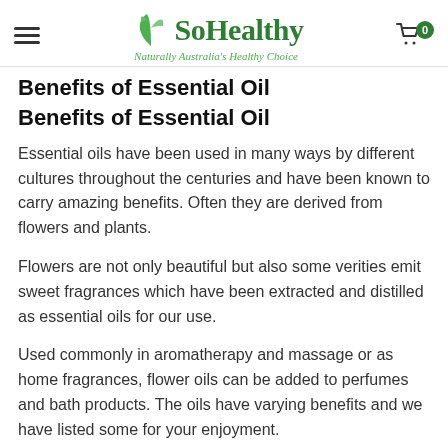SoHealthy — Naturally Australia's Healthy Choice
Benefits of Essential Oil
Benefits of Essential Oil
Essential oils have been used in many ways by different cultures throughout the centuries and have been known to carry amazing benefits. Often they are derived from flowers and plants.
Flowers are not only beautiful but also some verities emit sweet fragrances which have been extracted and distilled as essential oils for our use.
Used commonly in aromatherapy and massage or as home fragrances, flower oils can be added to perfumes and bath products. The oils have varying benefits and we have listed some for your enjoyment.